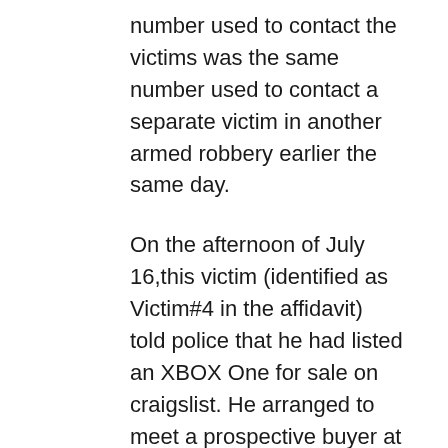number used to contact the victims was the same number used to contact a separate victim in another armed robbery earlier the same day.
On the afternoon of July 16,this victim (identified as Victim#4 in the affidavit) told police that he had listed an XBOX One for sale on craigslist. He arranged to meet a prospective buyer at Ridge Pointe Apartments in Kansas City, Mo. When he arrived, the affidavit said, Buckner approached him and asked to see the XBOX. The victim handed the XBOX to Buckner. Two other men then came up behind Buckner, the affidavit says. One of those men lifted his